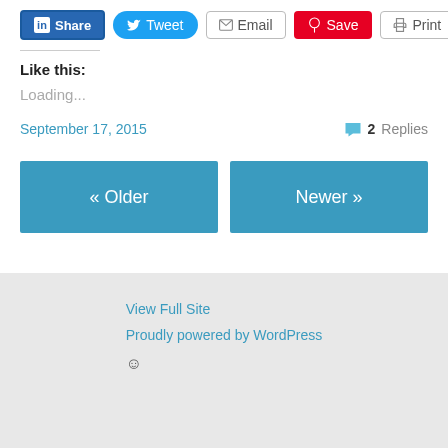[Figure (other): Social share buttons: LinkedIn Share, Tweet, Email, Save (Pinterest), Print]
Like this:
Loading...
September 17, 2015
2 Replies
« Older
Newer »
View Full Site
Proudly powered by WordPress
☺